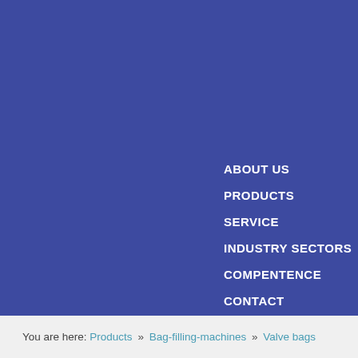ABOUT US
PRODUCTS
SERVICE
INDUSTRY SECTORS
COMPENTENCE
CONTACT
DATA PROTECTION
You are here: Products » Bag-filling-machines » Valve bags